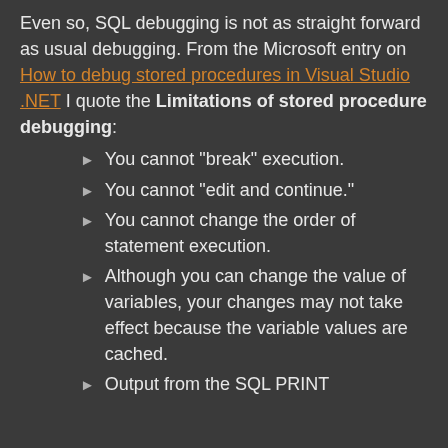Even so, SQL debugging is not as straight forward as usual debugging. From the Microsoft entry on How to debug stored procedures in Visual Studio .NET I quote the Limitations of stored procedure debugging:
You cannot "break" execution.
You cannot "edit and continue."
You cannot change the order of statement execution.
Although you can change the value of variables, your changes may not take effect because the variable values are cached.
Output from the SQL PRINT